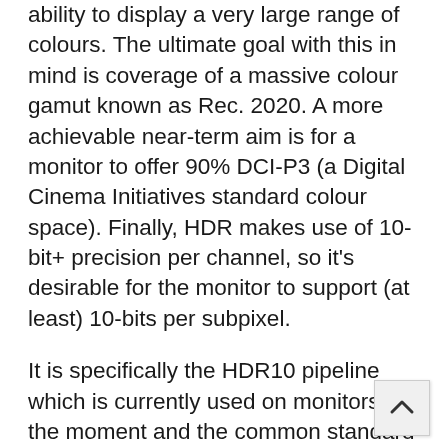ability to display a very large range of colours. The ultimate goal with this in mind is coverage of a massive colour gamut known as Rec. 2020. A more achievable near-term aim is for a monitor to offer 90% DCI-P3 (a Digital Cinema Initiatives standard colour space). Finally, HDR makes use of 10-bit+ precision per channel, so it's desirable for the monitor to support (at least) 10-bits per subpixel.
It is specifically the HDR10 pipeline which is currently used on monitors at the moment and the common standard supported most widely in games and other applications. For most games and other full screen applications that support HDR, the Philips 326M6VJRMB will automatically switch into its HDR operating mode. You'll know HDR is active on the